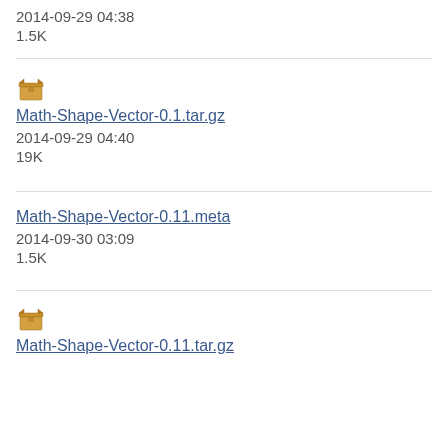2014-09-29 04:38
1.5K
[Figure (illustration): Archive/package icon (box)]
Math-Shape-Vector-0.1.tar.gz
2014-09-29 04:40
19K
Math-Shape-Vector-0.11.meta
2014-09-30 03:09
1.5K
[Figure (illustration): Archive/package icon (box)]
Math-Shape-Vector-0.11.tar.gz